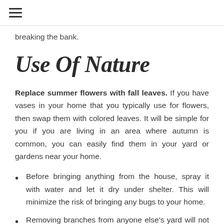≡
breaking the bank.
Use Of Nature
Replace summer flowers with fall leaves. If you have vases in your home that you typically use for flowers, then swap them with colored leaves. It will be simple for you if you are living in an area where autumn is common, you can easily find them in your yard or gardens near your home.
Before bringing anything from the house, spray it with water and let it dry under shelter. This will minimize the risk of bringing any bugs to your home.
Removing branches from anyone else's yard will not be good and you should always be